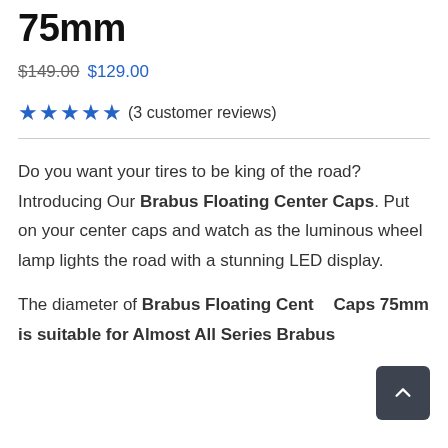75mm
$149.00  $129.00
★★★★★ (3 customer reviews)
Do you want your tires to be king of the road? Introducing Our Brabus Floating Center Caps. Put on your center caps and watch as the luminous wheel lamp lights the road with a stunning LED display.
The diameter of Brabus Floating Center Caps 75mm is suitable for Almost All Series Brabus